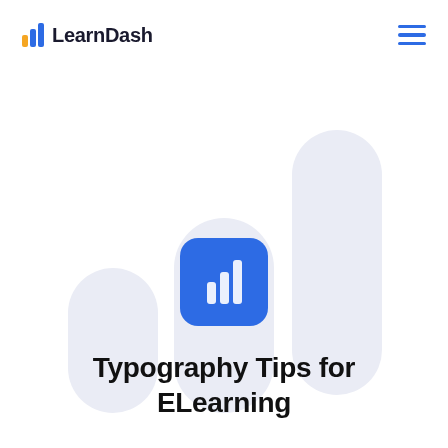LearnDash
[Figure (logo): LearnDash bar-chart logo icon centered on blue rounded square background]
Typography Tips for ELearning